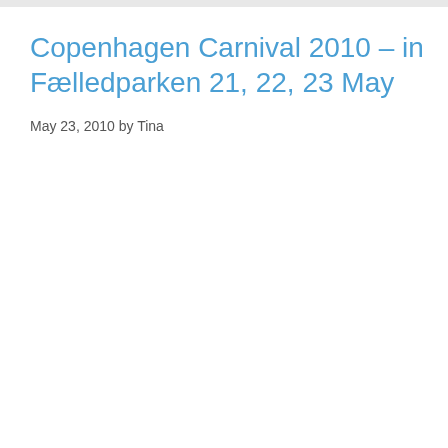Copenhagen Carnival 2010 – in Fælledparken 21, 22, 23 May
May 23, 2010 by Tina